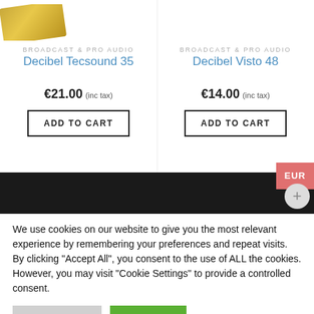[Figure (photo): Partial view of a gold card/product image in top-left corner]
BROADCAST & PRO AUDIO
Decibel Tecsound 35
€21.00 (inc tax)
ADD TO CART
BROADCAST & PRO AUDIO
Decibel Visto 48
€14.00 (inc tax)
ADD TO CART
EUR
We use cookies on our website to give you the most relevant experience by remembering your preferences and repeat visits. By clicking "Accept All", you consent to the use of ALL the cookies. However, you may visit "Cookie Settings" to provide a controlled consent.
Cookie Settings
Accept All